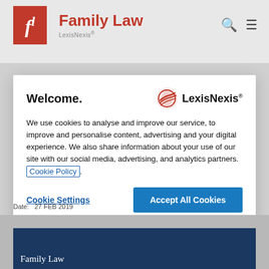[Figure (logo): Family Law LexisNexis logo with red 'fl' box and site name]
Welcome.
[Figure (logo): LexisNexis logo with red bird icon]
We use cookies to analyse and improve our service, to improve and personalise content, advertising and your digital experience. We also share information about your use of our site with our social media, advertising, and analytics partners. Cookie Policy.
Cookie Settings
Accept All Cookies
Date:   27 FEB 2019
[Figure (screenshot): Partial view of Family Law publication cover in dark blue]